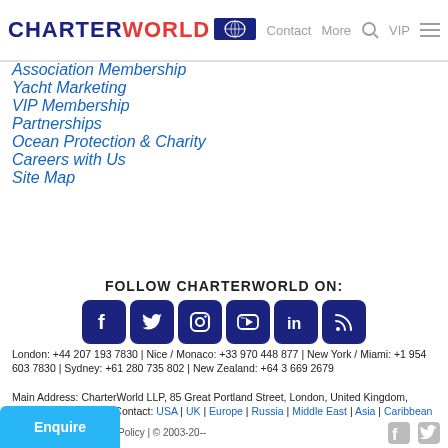CHARTERWORLD | Contact | More | VIP
Association Membership
Yacht Marketing
VIP Membership
Partnerships
Ocean Protection & Charity
Careers with Us
Site Map
FOLLOW CHARTERWORLD ON:
[Figure (infographic): Social media icon buttons: Facebook, Twitter, Instagram, YouTube, LinkedIn, RSS — dark navy rounded squares]
London: +44 207 193 7830 | Nice / Monaco: +33 970 448 877 | New York / Miami: +1 954 603 7830 | Sydney: +61 280 735 802 | New Zealand: +64 3 669 2679
Main Address: CharterWorld LLP, 85 Great Portland Street, London, United Kingdom, W1W 7LT, Worldwide Contact: USA | UK | Europe | Russia | Middle East | Asia | Caribbean | Australasia
Privacy Notice | Cookie Policy | © 2003-20--